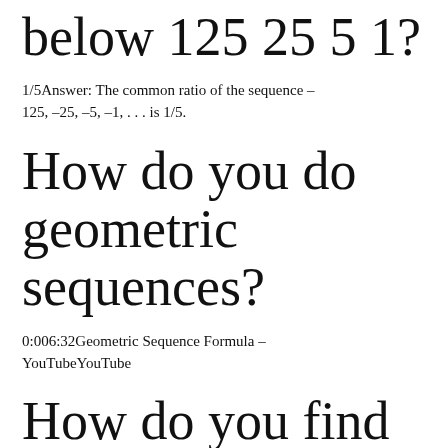below 125 25 5 1?
1/5Answer: The common ratio of the sequence – 125, –25, –5, –1, . . . is 1/5.
How do you do geometric sequences?
0:006:32Geometric Sequence Formula – YouTubeYouTube
How do you find the geometric sequence?